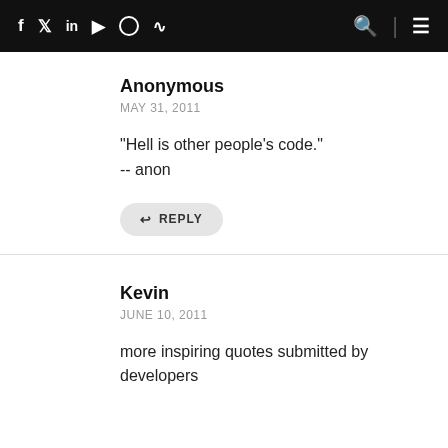f  𝕏  in  ▶  ○  ☰  🔍  ≡
Anonymous
MAY 31, 2011
"Hell is other people's code."
-- anon
↩ REPLY
Kevin
JUNE 10, 2011
more inspiring quotes submitted by developers